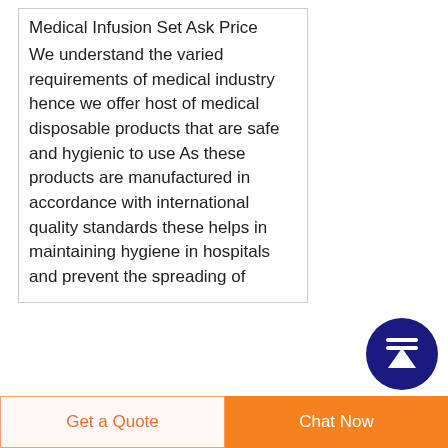Medical Infusion Set Ask Price
We understand the varied requirements of medical industry hence we offer host of medical disposable products that are safe and hygienic to use As these products are manufactured in accordance with international quality standards these helps in maintaining hygiene in hospitals and prevent the spreading of
[Figure (logo): Colorful gemstone/crystal logo for Discount Diabetic]
Discount Diabetic
Get a Quote
Chat Now